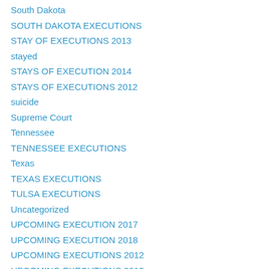South Dakota
SOUTH DAKOTA EXECUTIONS
STAY OF EXECUTIONS 2013
stayed
STAYS OF EXECUTION 2014
STAYS OF EXECUTIONS 2012
suicide
Supreme Court
Tennessee
TENNESSEE EXECUTIONS
Texas
TEXAS EXECUTIONS
TULSA EXECUTIONS
Uncategorized
UPCOMING EXECUTION 2017
UPCOMING EXECUTION 2018
UPCOMING EXECUTIONS 2012
UPCOMING EXECUTIONS 2013
UPCOMING EXECUTIONS 2014
UPCOMING EXECUTIONS 2015